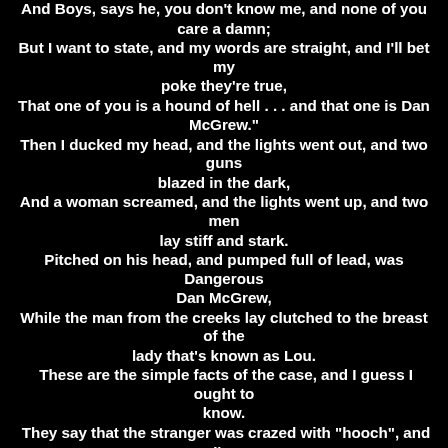And  Boys,  says he,  you don't know me, and none of you care a damn; But I want to state, and my words are straight, and I'll bet my poke they're true, That one of you is a hound of hell . . . and that one is Dan McGrew." Then I ducked my head, and the lights went out, and two guns blazed in the dark, And a woman screamed, and the lights went up, and two men lay stiff and stark. Pitched on his head, and pumped full of lead, was Dangerous Dan McGrew, While the man from the creeks lay clutched to the breast of the lady that's known as Lou. These are the simple facts of the case, and I guess I ought to know. They say that the stranger was crazed with "hooch", and I'm not denying it's so. I'm not so wise as the lawyer guys, but strictly between us two - - The woman that kissed him and -- pinched his poke -- was the lady that's known as Lou.